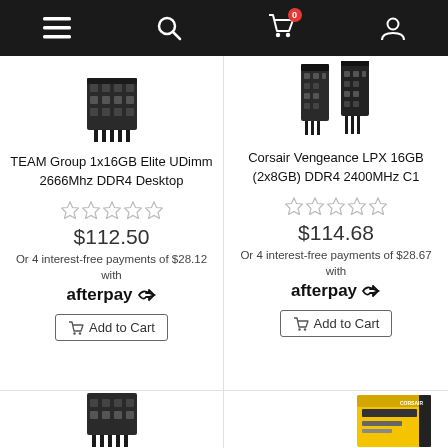[Figure (screenshot): E-commerce website navigation bar with hamburger menu, search icon, cart icon with badge showing 0, and user account icon on dark background]
[Figure (photo): TEAM Group 1x16GB Elite UDimm 2666Mhz DDR4 Desktop RAM product image - partially visible]
TEAM Group 1x16GB Elite UDimm 2666Mhz DDR4 Desktop
[Figure (other): 5 empty star rating icons]
$112.50
Or 4 interest-free payments of $28.12 with afterpay
Add to Cart
[Figure (photo): Corsair Vengeance LPX 16GB (2x8GB) DDR4 2400MHz RAM sticks product image]
Corsair Vengeance LPX 16GB (2x8GB) DDR4 2400MHz C1
[Figure (other): 5 empty star rating icons]
$114.68
Or 4 interest-free payments of $28.67 with afterpay
Add to Cart
[Figure (photo): Bottom of page showing another RAM product image partially visible - left card]
[Figure (photo): Bottom of page showing Corsair product box partially visible - right card, yellow and black box]